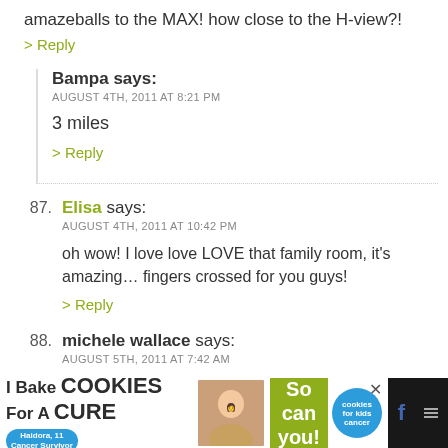amazeballs to the MAX! how close to the H-view?!
> Reply
Bampa says:
AUGUST 4TH, 2011 AT 8:21 PM
3 miles
> Reply
87. Elisa says:
AUGUST 4TH, 2011 AT 10:42 PM
oh wow! I love love LOVE that family room, it's amazing… fingers crossed for you guys!
> Reply
88. michele wallace says:
AUGUST 5TH, 2011 AT 7:42 AM
Beautiful! I'm totally jelous of mostly the kitchen 😊
[Figure (screenshot): Advertisement banner at the bottom: 'I Bake COOKIES For A CURE' with image of girl and 'So can you!' badge]